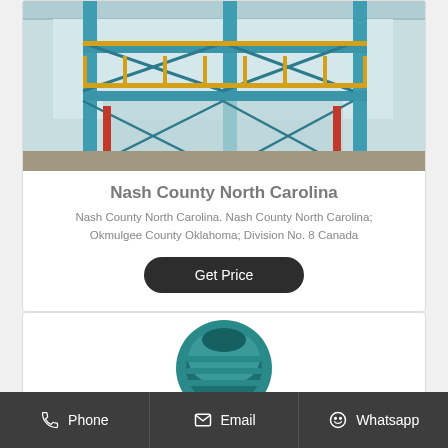[Figure (photo): Industrial facility with blue/teal steel structure, scaffolding, yellow railings, and overhead cranes inside a factory building]
Nash County North Carolina
Nash County North Carolina. Nash County North Carolina; Okmulgee County Oklahoma; Division No. 8 Canada
Get Price
[Figure (photo): Teal/green industrial machine component, partially visible at bottom of card]
Phone   Email   Whatsapp